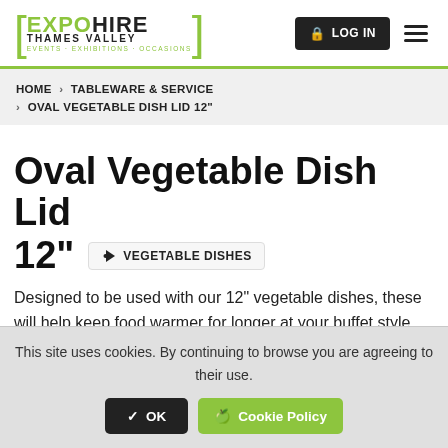EXPO HIRE THAMES VALLEY — EVENTS · EXHIBITIONS · OCCASIONS
HOME › TABLEWARE & SERVICE › OVAL VEGETABLE DISH LID 12"
Oval Vegetable Dish Lid 12" — VEGETABLE DISHES
Designed to be used with our 12" vegetable dishes, these will help keep food warmer for longer at your buffet style event
This site uses cookies. By continuing to browse you are agreeing to their use. OK  Cookie Policy